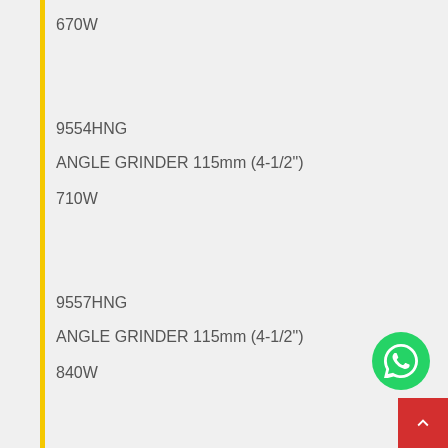670W
9554HNG
ANGLE GRINDER 115mm (4-1/2")
710W
9557HNG
ANGLE GRINDER 115mm (4-1/2")
840W